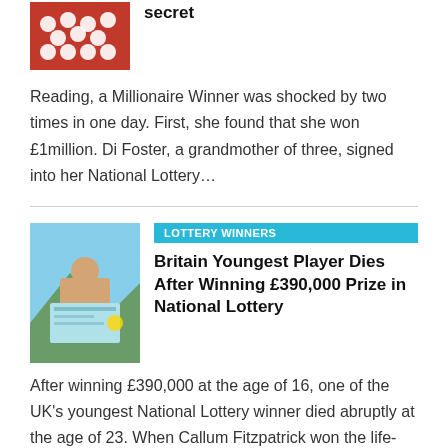[Figure (photo): Red background with white lottery balls thumbnail]
secret
Reading, a Millionaire Winner was shocked by two times in one day. First, she found that she won £1million. Di Foster, a grandmother of three, signed into her National Lottery…
[Figure (photo): Young man holding a large lottery cheque with mountains in the background]
LOTTERY WINNERS
Britain Youngest Player Dies After Winning £390,000 Prize in National Lottery
After winning £390,000 at the age of 16, one of the UK's youngest National Lottery winner died abruptly at the age of 23. When Callum Fitzpatrick won the life-changing money,…